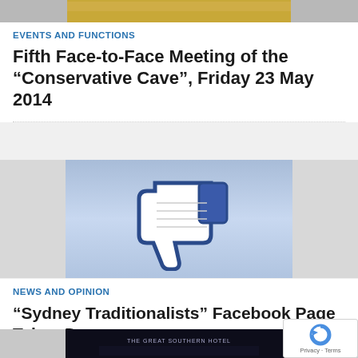[Figure (photo): Top partial image strip, warm gold/orange tones, top of page]
EVENTS AND FUNCTIONS
Fifth Face-to-Face Meeting of the “Conservative Cave”, Friday 23 May 2014
[Figure (illustration): Facebook thumbs-down dislike icon on blue gradient background, flanked by gray panels]
NEWS AND OPINION
“Sydney Traditionalists” Facebook Page Taken Down
[Figure (photo): Bottom partial image of The Great Southern Hotel at night, dark tones]
[Figure (other): reCAPTCHA badge with circular arrow icon and Privacy - Terms text]